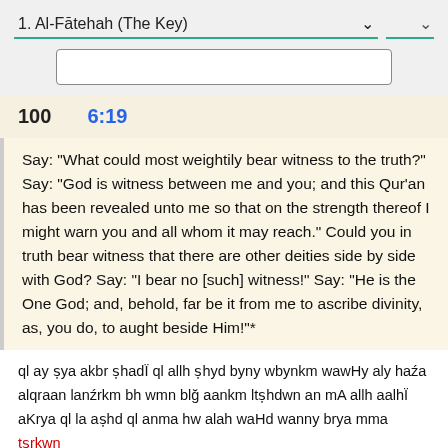1. Al-Fātehah (The Key)
100   6:19
Say: "What could most weightily bear witness to the truth?" Say: "God is witness between me and you; and this Qur'an has been revealed unto me so that on the strength thereof I might warn you and all whom it may reach." Could you in truth bear witness that there are other deities side by side with God? Say: "I bear no [such] witness!" Say: "He is the One God; and, behold, far be it from me to ascribe divinity, as, you do, to aught beside Him!"*
ql ay ṣya akbr ṣhadÏ ql allh ṣhyd byny wbynkm wawHy aly haźa alqraan lanźrkm bh wmn blğ aankm ltṣhdwn an mA allh aalhÏ aKrya ql la aṣhd ql anma hw alah waHd wanny brya mma tṣrkwn